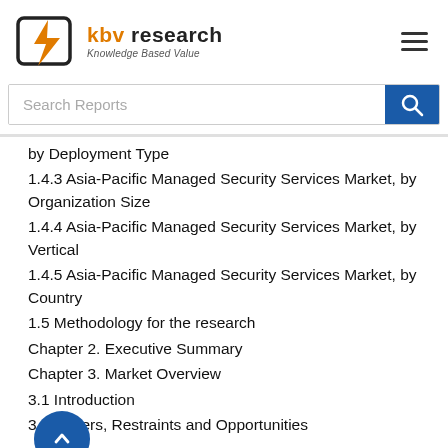[Figure (logo): KBV Research logo with orange lightning bolt icon and text 'kbv research Knowledge Based Value']
[Figure (other): Hamburger menu icon (three horizontal lines)]
[Figure (other): Search bar with placeholder 'Search Reports' and blue search button]
by Deployment Type
1.4.3 Asia-Pacific Managed Security Services Market, by Organization Size
1.4.4 Asia-Pacific Managed Security Services Market, by Vertical
1.4.5 Asia-Pacific Managed Security Services Market, by Country
1.5 Methodology for the research
Chapter 2. Executive Summary
Chapter 3. Market Overview
3.1 Introduction
3.2 Drivers, Restraints and Opportunities